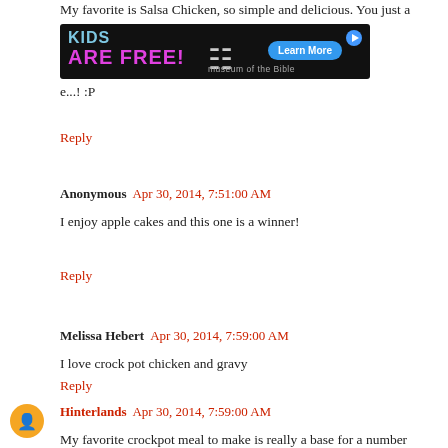My favorite is Salsa Chicken, so simple and delicious. You just a...) and one e...! :P
[Figure (other): Advertisement banner: KIDS ARE FREE! museum of the Bible - Learn More button]
Reply
Anonymous  Apr 30, 2014, 7:51:00 AM
I enjoy apple cakes and this one is a winner!
Reply
Melissa Hebert  Apr 30, 2014, 7:59:00 AM
I love crock pot chicken and gravy
Reply
Hinterlands  Apr 30, 2014, 7:59:00 AM
My favorite crockpot meal to make is really a base for a number